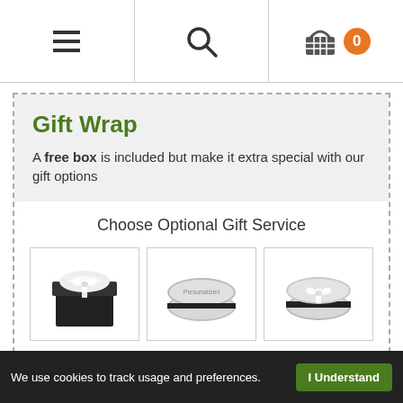[Figure (screenshot): Navigation bar with hamburger menu, search icon, basket icon with 0 count badge]
Gift Wrap
A free box is included but make it extra special with our gift options
Choose Optional Gift Service
[Figure (photo): Three gift service options: black and white gift box with ribbon, silver oval case, silver oval case with white bow]
QUANTITY  1
... TO BASKET (partially visible orange button)
We use cookies to track usage and preferences.  I Understand